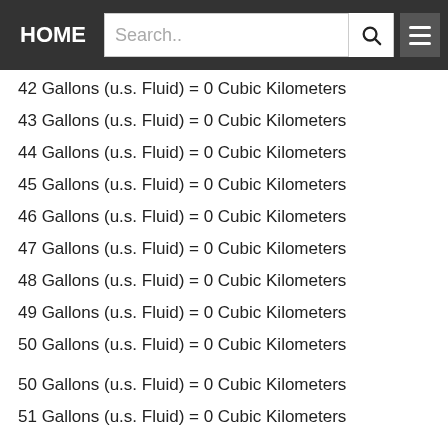HOME | Search..
42 Gallons (u.s. Fluid) = 0 Cubic Kilometers
43 Gallons (u.s. Fluid) = 0 Cubic Kilometers
44 Gallons (u.s. Fluid) = 0 Cubic Kilometers
45 Gallons (u.s. Fluid) = 0 Cubic Kilometers
46 Gallons (u.s. Fluid) = 0 Cubic Kilometers
47 Gallons (u.s. Fluid) = 0 Cubic Kilometers
48 Gallons (u.s. Fluid) = 0 Cubic Kilometers
49 Gallons (u.s. Fluid) = 0 Cubic Kilometers
50 Gallons (u.s. Fluid) = 0 Cubic Kilometers
50 Gallons (u.s. Fluid) = 0 Cubic Kilometers
51 Gallons (u.s. Fluid) = 0 Cubic Kilometers